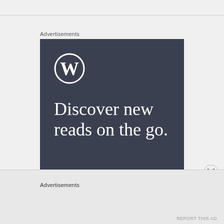Advertisements
[Figure (illustration): WordPress advertisement banner on dark gray-blue background. Shows the WordPress 'W' circle logo at top left, large serif text reading 'Discover new reads on the go.' and 'GET THE APP' at the bottom in white.]
Advertisements
REPORT THIS AD